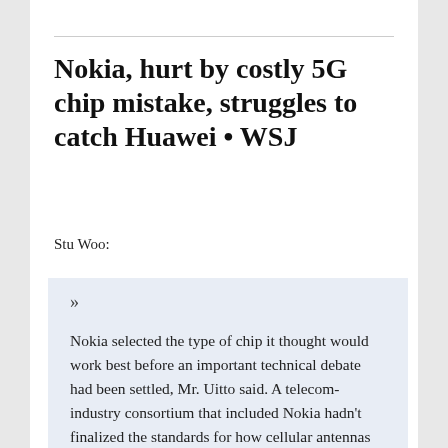Nokia, hurt by costly 5G chip mistake, struggles to catch Huawei • WSJ
Stu Woo:
»
Nokia selected the type of chip it thought would work best before an important technical debate had been settled, Mr. Uitto said. A telecom-industry consortium that included Nokia hadn't finalized the standards for how cellular antennas should communicate with phones and other devices.
Nokia had two options. One is called a